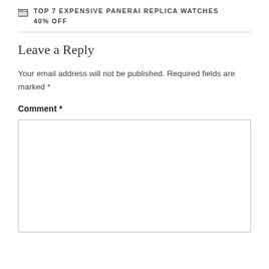TOP 7 EXPENSIVE PANERAI REPLICA WATCHES 40% OFF
Leave a Reply
Your email address will not be published. Required fields are marked *
Comment *
[Figure (other): Empty comment text area input box with light gray border]